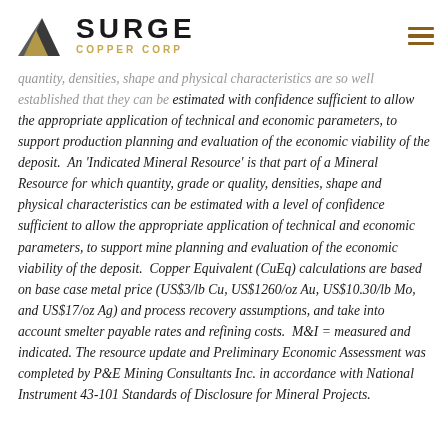Surge Copper Corp
quantity, densities, shape and physical characteristics are so well established that they can be estimated with confidence sufficient to allow the appropriate application of technical and economic parameters, to support production planning and evaluation of the economic viability of the deposit.  An 'Indicated Mineral Resource' is that part of a Mineral Resource for which quantity, grade or quality, densities, shape and physical characteristics can be estimated with a level of confidence sufficient to allow the appropriate application of technical and economic parameters, to support mine planning and evaluation of the economic viability of the deposit.  Copper Equivalent (CuEq) calculations are based on base case metal price (US$3/lb Cu, US$1260/oz Au, US$10.30/lb Mo, and US$17/oz Ag) and process recovery assumptions, and take into account smelter payable rates and refining costs.  M&I = measured and indicated. The resource update and Preliminary Economic Assessment was completed by P&E Mining Consultants Inc. in accordance with National Instrument 43-101 Standards of Disclosure for Mineral Projects.